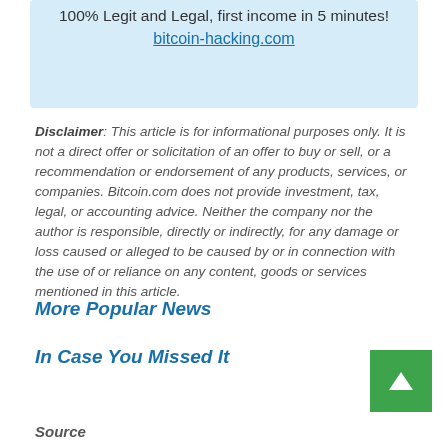[Figure (other): Light blue advertisement banner with text '100% Legit and Legal, first income in 5 minutes!' and a link 'bitcoin-hacking.com']
Disclaimer: This article is for informational purposes only. It is not a direct offer or solicitation of an offer to buy or sell, or a recommendation or endorsement of any products, services, or companies. Bitcoin.com does not provide investment, tax, legal, or accounting advice. Neither the company nor the author is responsible, directly or indirectly, for any damage or loss caused or alleged to be caused by or in connection with the use of or reliance on any content, goods or services mentioned in this article.
More Popular News
In Case You Missed It
Source